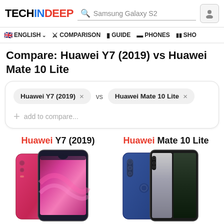TECHINDEEP | Samsung Galaxy S2 | [user icon]
ENGLISH | COMPARISON | GUIDE | PHONES | SHO
Compare: Huawei Y7 (2019) vs Huawei Mate 10 Lite
Huawei Y7 (2019) × vs Huawei Mate 10 Lite × + add to compare...
Huawei Y7 (2019)   Huawei Mate 10 Lite
[Figure (photo): Huawei Y7 (2019) phone image in red/pink color, front and back view]
[Figure (photo): Huawei Mate 10 Lite phone image in blue color, front and back view]